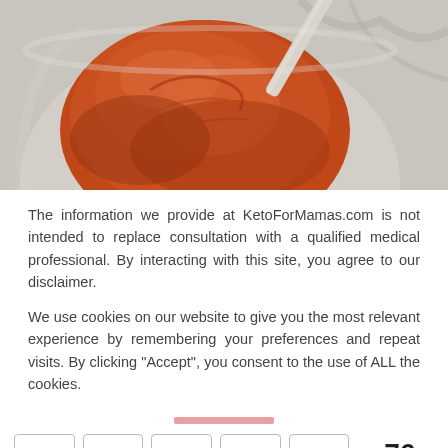[Figure (photo): Close-up photo of orange/red paste or dough in a glass mixing bowl, being stirred with a spatula on a marble surface]
The information we provide at KetoForMamas.com is not intended to replace consultation with a qualified medical professional. By interacting with this site, you agree to our disclaimer.
We use cookies on our website to give you the most relevant experience by remembering your preferences and repeat visits. By clicking "Accept", you consent to the use of ALL the cookies.
< 76 SHARES